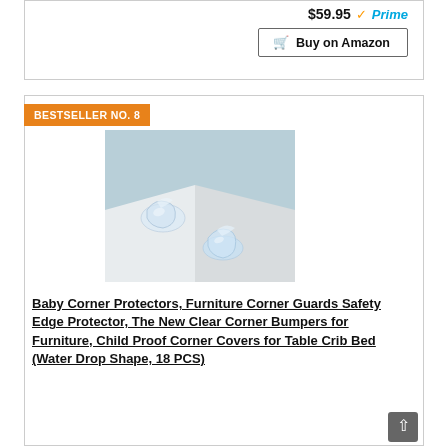$59.95 Prime
Buy on Amazon
BESTSELLER NO. 8
[Figure (photo): Two clear water-drop shaped corner bumper protectors placed on a white surface against a light blue background]
Baby Corner Protectors, Furniture Corner Guards Safety Edge Protector, The New Clear Corner Bumpers for Furniture, Child Proof Corner Covers for Table Crib Bed (Water Drop Shape, 18 PCS)